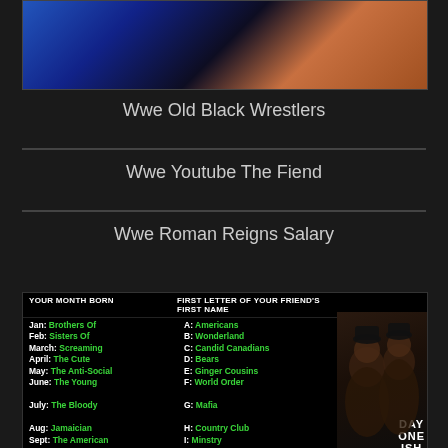[Figure (photo): Top portion of a photo showing two people on a blue background, partially cropped]
Wwe Old Black Wrestlers
Wwe Youtube The Fiend
Wwe Roman Reigns Salary
[Figure (infographic): WWE name generator infographic with columns: Your Month Born (Jan-Dec with green labels), First Letter of Your Friend's First Name (A-K with green labels), and a third column (L-Z with green labels). Two men in black hoodies visible on the right side with shirt text DAY ONE ISH.]